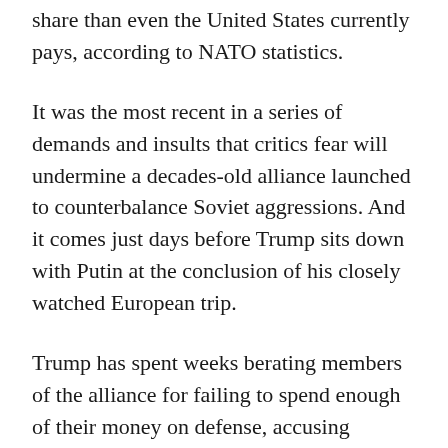share than even the United States currently pays, according to NATO statistics.
It was the most recent in a series of demands and insults that critics fear will undermine a decades-old alliance launched to counterbalance Soviet aggressions. And it comes just days before Trump sits down with Putin at the conclusion of his closely watched European trip.
Trump has spent weeks berating members of the alliance for failing to spend enough of their money on defense, accusing Europe of freeloading off the U.S. and raising doubts about whether he would come to members' defense if they were ever attacked.
He described the current situation as